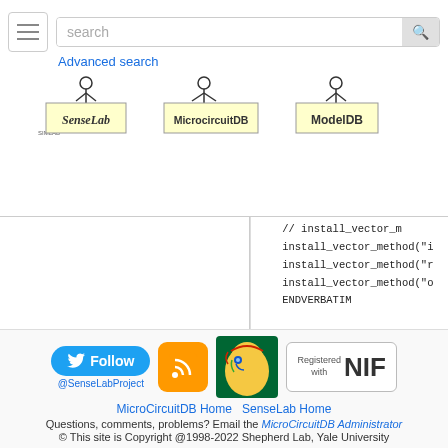search | Advanced search | SenseLab | MicrocircuitDB | ModelDB
[Figure (screenshot): Code block showing install_vector_method calls and ENDVERBATIM, closing braces]
[Figure (logo): Twitter Follow button @SenseLabProject, RSS feed icon, colorful head icon, Registered with NIF badge]
MicroCircuitDB Home  SenseLab Home
Questions, comments, problems? Email the MicroCircuitDB Administrator
© This site is Copyright @1998-2022 Shepherd Lab, Yale University